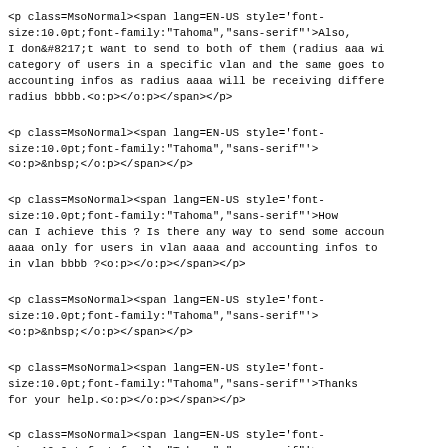<p class=MsoNormal><span lang=EN-US style='font-size:10.0pt;font-family:"Tahoma","sans-serif"'>Also, I don&#8217;t want to send to both of them (radius aaa wi category of users in a specific vlan and the same goes to accounting infos as radius aaaa will be receiving differe radius bbbb.<o:p></o:p></span></p>
<p class=MsoNormal><span lang=EN-US style='font-size:10.0pt;font-family:"Tahoma","sans-serif"'><o:p>&nbsp;</o:p></span></p>
<p class=MsoNormal><span lang=EN-US style='font-size:10.0pt;font-family:"Tahoma","sans-serif"'>How can I achieve this ? Is there any way to send some accoun aaaa only for users in vlan aaaa and accounting infos to in vlan bbbb ?<o:p></o:p></span></p>
<p class=MsoNormal><span lang=EN-US style='font-size:10.0pt;font-family:"Tahoma","sans-serif"'><o:p>&nbsp;</o:p></span></p>
<p class=MsoNormal><span lang=EN-US style='font-size:10.0pt;font-family:"Tahoma","sans-serif"'>Thanks for your help.<o:p></o:p></span></p>
<p class=MsoNormal><span lang=EN-US style='font-size:10.0pt;font-family:"Tahoma","sans-serif"'><o:p>&nbsp;</o:p></span></p>
<p class=MsoNormal>